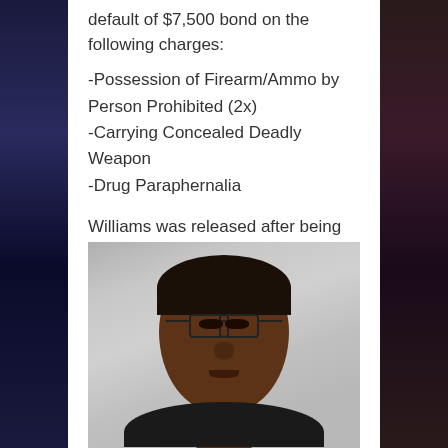default of $7,500 bond on the following charges:
-Possession of Firearm/Ammo by Person Prohibited (2x)
-Carrying Concealed Deadly Weapon
-Drug Paraphernalia

Williams was released after being charged with Possession of Marijuana.
[Figure (photo): Mugshot of a Black male wearing glasses and a dark shirt, gray background]